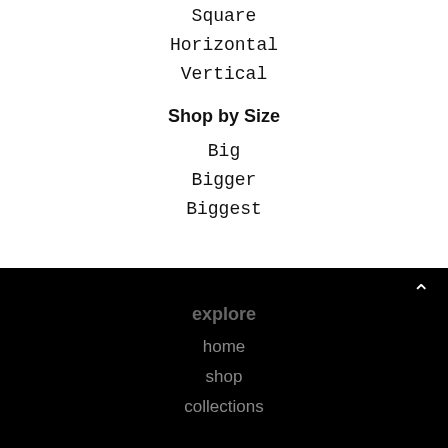Square
Horizontal
Vertical
Shop by Size
Big
Bigger
Biggest
explore
home
shop
collections